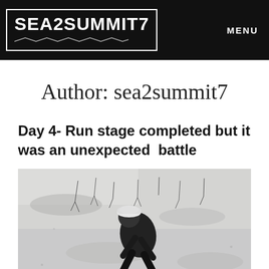SEA2SUMMIT7  MENU
Author: sea2summit7
Day 4- Run stage completed but it was an unexpected  battle
[Figure (photo): A person in dark jacket and white cap crouching or running on a snowy trail with bare shrubs and snow-covered ground around them, viewed from above.]